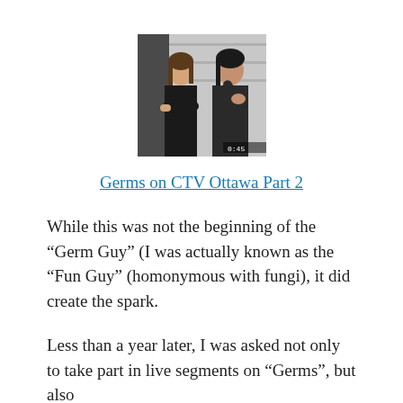[Figure (photo): Two people in a store or indoor setting, one with arms crossed and one gesturing, both wearing dark clothing. Video still from CTV Ottawa.]
Germs on CTV Ottawa Part 2
While this was not the beginning of the “Germ Guy” (I was actually known as the “Fun Guy” (homonymous with fungi), it did create the spark.
Less than a year later, I was asked not only to take part in live segments on “Germs”, but also